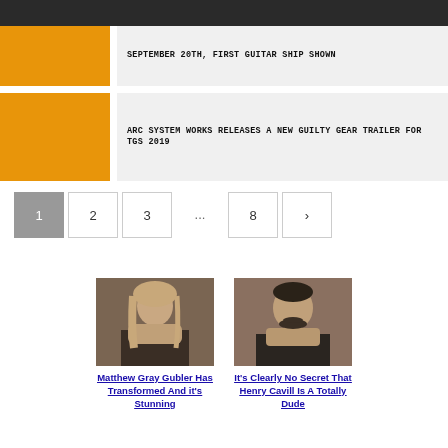SEPTEMBER 20TH, FIRST GUITAR SHIP SHOWN
ARC SYSTEM WORKS RELEASES A NEW GUILTY GEAR TRAILER FOR TGS 2019
1
2
3
...
8
>
[Figure (photo): Photo of Matthew Gray Gubler]
Matthew Gray Gubler Has Transformed And it's Stunning
[Figure (photo): Photo of Henry Cavill]
It's Clearly No Secret That Henry Cavill Is A Totally Dude